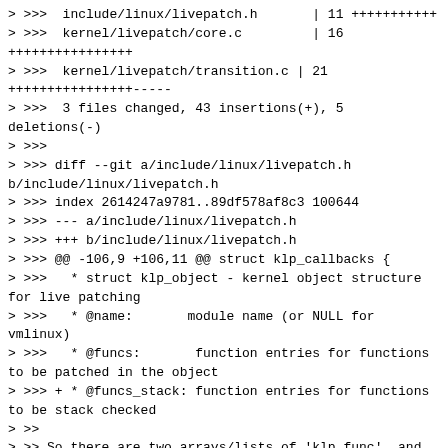> >>>  include/linux/livepatch.h       | 11 +++++++++++
> >>>  kernel/livepatch/core.c         | 16
++++++++++++++++
> >>>  kernel/livepatch/transition.c | 21
++++++++++++++++-----
> >>>  3 files changed, 43 insertions(+), 5
deletions(-)
> >>>
> >>> diff --git a/include/linux/livepatch.h
b/include/linux/livepatch.h
> >>> index 2614247a9781..89df578af8c3 100644
> >>> --- a/include/linux/livepatch.h
> >>> +++ b/include/linux/livepatch.h
> >>> @@ -106,9 +106,11 @@ struct klp_callbacks {
> >>>   * struct klp_object - kernel object structure
for live patching
> >>>   * @name:       module name (or NULL for
vmlinux)
> >>>   * @funcs:       function entries for functions
to be patched in the object
> >>> + * @funcs_stack: function entries for functions
to be stack checked
> >>
> >> So there are two arrays/lists of 'klp_func', and
two implied meanings of
> >> what a 'klp_func' is and how it's initialized.
> >>
> >> Might it be simpler and more explicit to just add
a new external field
> >> to 'klp_func' and continue to have a single